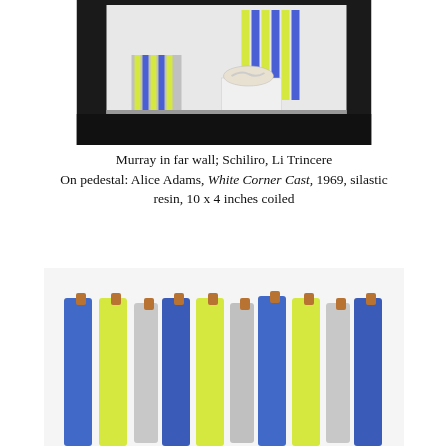[Figure (photo): Gallery installation photo showing a white wall with vertical yellow and blue stripes (Murray), a striped fabric or paper piece leaning on the left, and a white pedestal with a coiled silastic resin sculpture (Alice Adams, White Corner Cast) on the right.]
Murray in far wall; Schiliro, Li Trincere
On pedestal: Alice Adams, White Corner Cast, 1969, silastic resin, 10 x 4 inches coiled
[Figure (photo): Close-up photo of vertical rods or tubes in alternating blue, yellow-green, and gray/white colors with copper-toned tips, arranged side by side.]